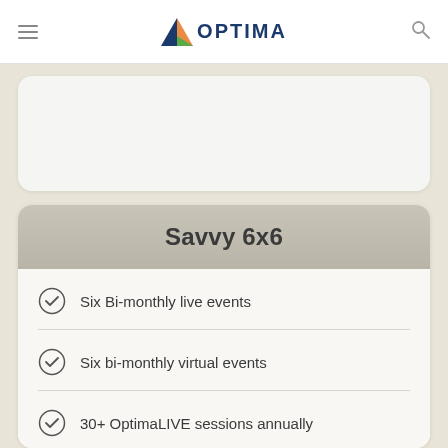OPTIMA
[Figure (illustration): Partial white rounded card visible at top of content area]
Savvy 6x6
Six Bi-monthly live events
Six bi-monthly virtual events
30+ OptimaLIVE sessions annually